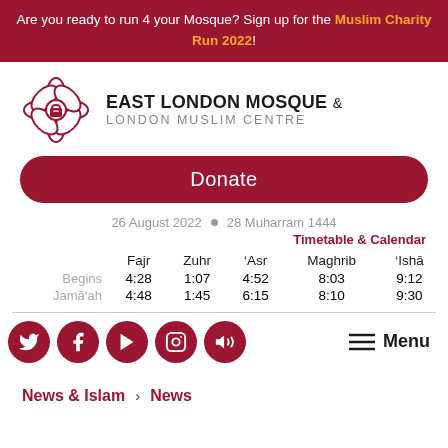Are you ready to run 4 your Mosque? Sign up for the Muslim Charity Run 2022!
[Figure (logo): East London Mosque & London Muslim Centre logo with floral geometric emblem]
Donate
26 August 2022 • 28 Muharram 1444
Timetable & Calendar
|  | Fajr | Zuhr | 'Asr | Maghrib | 'Ishā |
| --- | --- | --- | --- | --- | --- |
| Begins | 4:28 | 1:07 | 4:52 | 8:03 | 9:12 |
| Jamā'ah | 4:48 | 1:45 | 6:15 | 8:10 | 9:30 |
[Figure (infographic): Social media icons row: Twitter, Facebook, YouTube, Instagram, Sound/Podcast icons in dark red circles, and a Menu button]
News & Islam > News